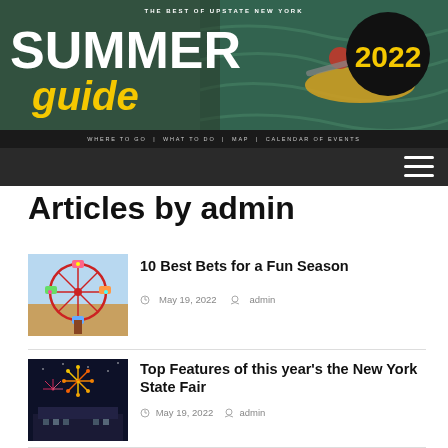[Figure (illustration): Summer Guide 2022 banner header for CNY Summer website. Shows kayaker on water with large 'SUMMER guide' text, '2022' in yellow on black circle, tagline 'THE BEST OF UPSTATE NEW YORK', and URL www.cnysummer.com]
WHERE TO GO | WHAT TO DO | MAP | CALENDAR OF EVENTS
Articles by admin
[Figure (photo): Ferris wheel at a fair with colorful lights against a bright sky]
10 Best Bets for a Fun Season
May 19, 2022  admin
[Figure (photo): Fireworks over a building at night, New York State Fair]
Top Features of this year's the New York State Fair
May 19, 2022  admin